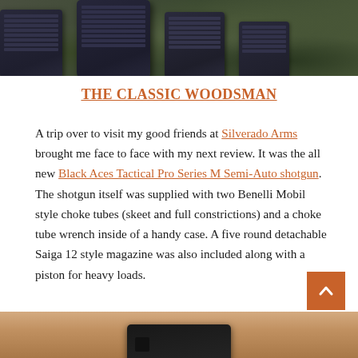[Figure (photo): Top portion of page showing dark blue/black firearm magazines on a camouflage background]
THE CLASSIC WOODSMAN
A trip over to visit my good friends at Silverado Arms brought me face to face with my next review. It was the all new Black Aces Tactical Pro Series M Semi-Auto shotgun. The shotgun itself was supplied with two Benelli Mobil style choke tubes (skeet and full constrictions) and a choke tube wrench inside of a handy case. A five round detachable Saiga 12 style magazine was also included along with a piston for heavy loads.
[Figure (photo): Bottom portion showing a dark firearm component on a wooden surface]